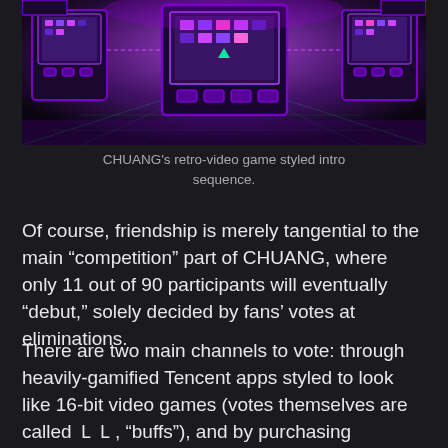[Figure (screenshot): CHUANG's retro-video game styled intro sequence showing a dark purple and green sci-fi gaming environment with pixel-art style screens and neon lighting.]
CHUANG's retro-video game styled intro sequence.
Of course, friendship is merely tangential to the main “competition” part of CHUANG, where only 11 out of 90 participants will eventually “debut,” solely decided by fans’ votes at eliminations.
There are two main channels to vote: through heavily-gamified Tencent apps styled to look like 16-bit video games (votes themselves are called ＬＬ, “buffs”), and by purchasing products from the sponsor, a yoghurt brand called Chunzhen.